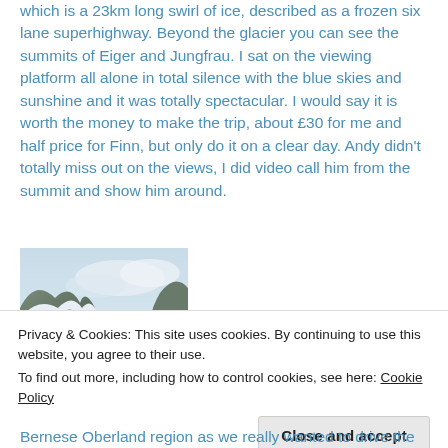which is a 23km long swirl of ice, described as a frozen six lane superhighway. Beyond the glacier you can see the summits of Eiger and Jungfrau. I sat on the viewing platform all alone in total silence with the blue skies and sunshine and it was totally spectacular. I would say it is worth the money to make the trip, about £30 for me and half price for Finn, but only do it on a clear day. Andy didn't totally miss out on the views, I did video call him from the summit and show him around.
[Figure (photo): A black and white dog (appears to be a Border Collie or similar breed) wearing a harness, photographed at a snowy mountain location with rocky terrain and cloudy sky in the background.]
Privacy & Cookies: This site uses cookies. By continuing to use this website, you agree to their use.
To find out more, including how to control cookies, see here: Cookie Policy
Bernese Oberland region as we really wanted to drive the